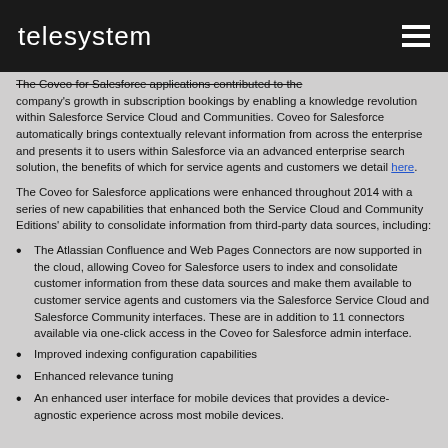telesystem
The Coveo for Salesforce applications contributed to the company's growth in subscription bookings by enabling a knowledge revolution within Salesforce Service Cloud and Communities. Coveo for Salesforce automatically brings contextually relevant information from across the enterprise and presents it to users within Salesforce via an advanced enterprise search solution, the benefits of which for service agents and customers we detail here.
The Coveo for Salesforce applications were enhanced throughout 2014 with a series of new capabilities that enhanced both the Service Cloud and Community Editions' ability to consolidate information from third-party data sources, including:
The Atlassian Confluence and Web Pages Connectors are now supported in the cloud, allowing Coveo for Salesforce users to index and consolidate customer information from these data sources and make them available to customer service agents and customers via the Salesforce Service Cloud and Salesforce Community interfaces. These are in addition to 11 connectors available via one-click access in the Coveo for Salesforce admin interface.
Improved indexing configuration capabilities
Enhanced relevance tuning
An enhanced user interface for mobile devices that provides a device-agnostic experience across most mobile devices.